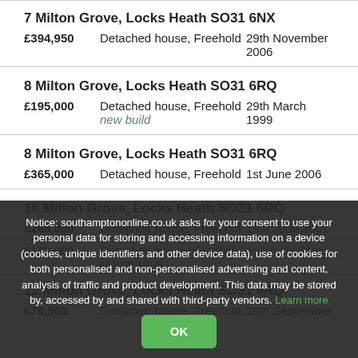7 Milton Grove, Locks Heath SO31 6NX
£394,950   Detached house, Freehold   29th November 2006
8 Milton Grove, Locks Heath SO31 6RQ
£195,000   Detached house, Freehold new build   29th March 1999
8 Milton Grove, Locks Heath SO31 6RQ
£365,000   Detached house, Freehold   1st June 2006
10 Milton Grove, Locks Heath SO31 6RQ
£265,000   Detached house, Freehold   18th June 2001
£188,000   Detached house, Freehold new build 31st March 1999
12 Milton Grove, Locks Heath SO31 6RQ
£78,500   Detached house, Freehold   29th September
Notice: southamptononline.co.uk asks for your consent to use your personal data for storing and accessing information on a device (cookies, unique identifiers and other device data), use of cookies for both personalised and non-personalised advertising and content, analysis of traffic and product development. This data may be stored by, accessed by and shared with third-party vendors. Learn more